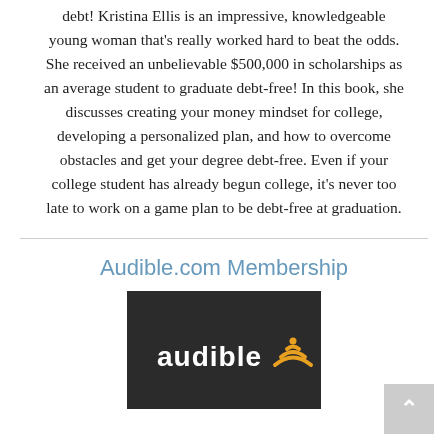debt! Kristina Ellis is an impressive, knowledgeable young woman that's really worked hard to beat the odds. She received an unbelievable $500,000 in scholarships as an average student to graduate debt-free! In this book, she discusses creating your money mindset for college, developing a personalized plan, and how to overcome obstacles and get your degree debt-free. Even if your college student has already begun college, it's never too late to work on a game plan to be debt-free at graduation.
Audible.com Membership
[Figure (logo): Audible logo on dark background — white bold text 'audible' with orange wifi/sound wave icon to the right]